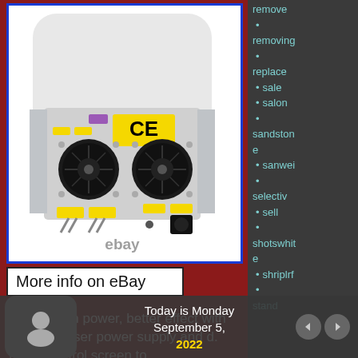[Figure (photo): Back view of a white 2000W laser hair removal machine with two cooling fans, CE certification label, yellow connector labels, and eBay watermark. Shown against white background with blue border frame.]
More info on eBay
2000W high power, better effect with standard laser power supply and d. Touch control screen to
remove
removing
replace
sale
salon
sandstone
sanwei
selectiv
sell
shotswhite
shriplrf
stand
Today is Monday September 5, 2022